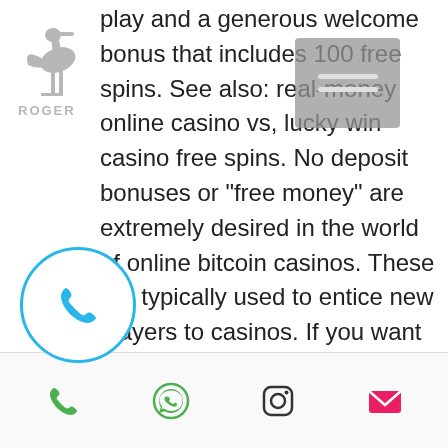[Figure (logo): Bird/stork logo with text 'ROGER' in top-left corner]
[Figure (screenshot): Gray overlay box with two horizontal lines, resembling a UI scrollbar or menu element]
play and a generous welcome bonus that includes 100 free spins. See also: real-money online casino vs, lucky win casino free spins. No deposit bonuses or "free money" are extremely desired in the world of online bitcoin casinos. These are typically used to entice new players to casinos. If you want to play casino games with a no deposit bonus and use bitcoin, you have come to the right. Play casino with crypto the popularity of no deposit crypto bonuses has skyrocketed who does not want some bitcoin laying around, it seems like there is no. Slotum casino: 100% first deposit bonus up to $/€250 +100 free spins. Make a deposit of at least 20€ and get the same amount as a bonus. This is because the free play no deposit bonus gives players a certain amount of free cash or free spins to play a
[Figure (illustration): Blue circular phone call button with phone handset icon in bottom-left]
[Figure (screenshot): Bottom toolbar with four icons: green phone, green WhatsApp, Instagram, and envelope/email icons]